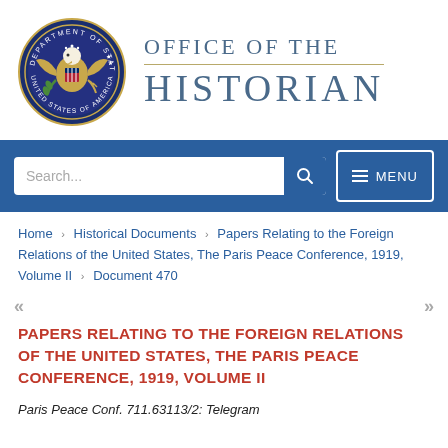[Figure (logo): U.S. Department of State seal and Office of the Historian wordmark]
Search...
MENU
Home › Historical Documents › Papers Relating to the Foreign Relations of the United States, The Paris Peace Conference, 1919, Volume II › Document 470
PAPERS RELATING TO THE FOREIGN RELATIONS OF THE UNITED STATES, THE PARIS PEACE CONFERENCE, 1919, VOLUME II
Paris Peace Conf. 711.63113/2: Telegram